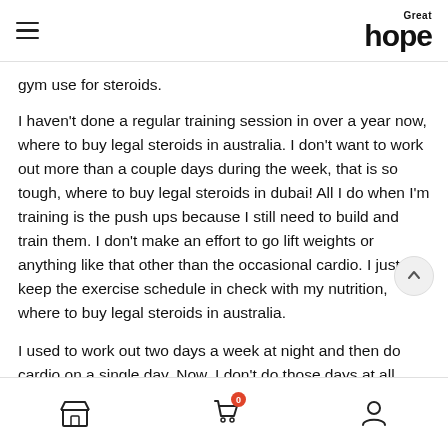Great hope (logo with hamburger menu)
gym use for steroids.
I haven't done a regular training session in over a year now, where to buy legal steroids in australia. I don't want to work out more than a couple days during the week, that is so tough, where to buy legal steroids in dubai! All I do when I'm training is the push ups because I still need to build and train them. I don't make an effort to go lift weights or anything like that other than the occasional cardio. I just keep the exercise schedule in check with my nutrition, where to buy legal steroids in australia.
I used to work out two days a week at night and then do cardio on a single day. Now, I don't do those days at all because I don't have that much free time, anabolic steroids
Store | Cart (0) | Account